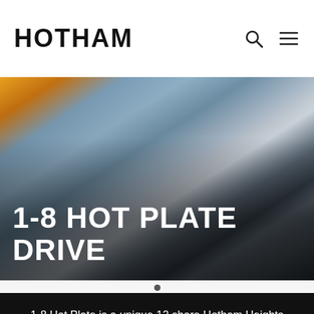HOTHAM
[Figure (photo): Aerial/drone photo of a snowy mountain landscape with a modern dark-roofed chalet building on the right side. The background shows snow-covered hills and a dramatic orange/golden sunset sky. The image has a cold blue tone on the lower portion.]
1-8 HOT PLATE DRIVE
1-8 Hot Plate is a unique 12 share Hotham Heights freestanding Chalet which spans across four levels including four